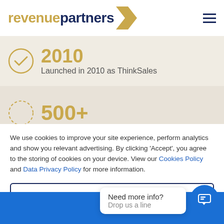[Figure (logo): Revenue Partners logo with gold 'revenue' text, dark navy 'partners' text, and a gold arrow/chevron symbol on the right]
[Figure (infographic): 2010 stat with circular check icon and text 'Launched in 2010 as ThinkSales' on beige background]
[Figure (infographic): 500+ stat with circular dotted icon on slightly darker beige background]
We use cookies to improve your site experience, perform analytics and show you relevant advertising. By clicking ‘Accept’, you agree to the storing of cookies on your device. View our Cookies Policy and Data Privacy Policy for more information.
Settings
Need more info?
Drop us a line